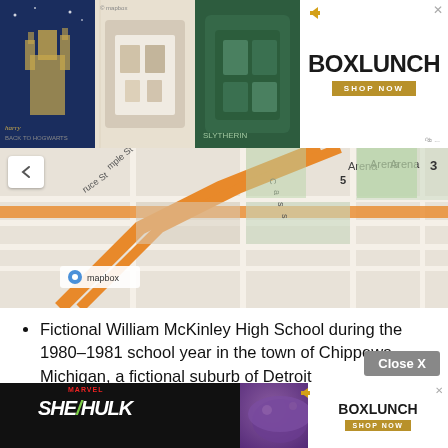[Figure (screenshot): BoxLunch advertisement banner at top with Harry Potter themed merchandise images on left and BoxLunch branding on right]
[Figure (map): Mapbox street map showing area near Ford Field arena in Detroit with orange highlighted roads and street names including Cass, Arena, and Ford Field labels]
Fictional William McKinley High School during the 1980–1981 school year in the town of Chippewa, Michigan, a fictional suburb of Detroit
A middle-class suburban home near the school
The surrounding neighbourhood, including some rougher parts of town
The bleachers are a good place to hide under, to do things teachers can't see
Th... e or
[Figure (screenshot): She-Hulk BoxLunch advertisement banner at bottom]